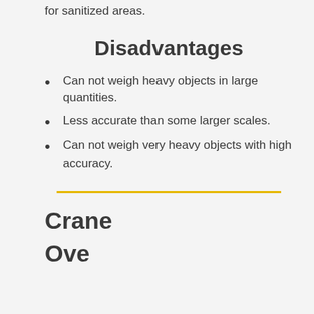for sanitized areas.
Disadvantages
Can not weigh heavy objects in large quantities.
Less accurate than some larger scales.
Can not weigh very heavy objects with high accuracy.
Crane
Overview